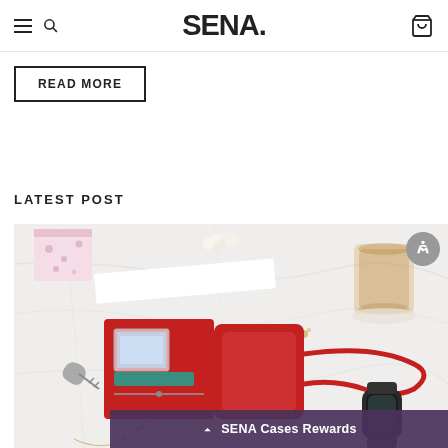SENA. [navigation with hamburger menu, search, and cart icons]
READ MORE
LATEST POST
[Figure (photo): Product photo of a red leather phone wallet case with wrist strap on a marble surface, alongside a glass of tea, decorative box, keys, and a smartwatch]
SENA Cases Rewards